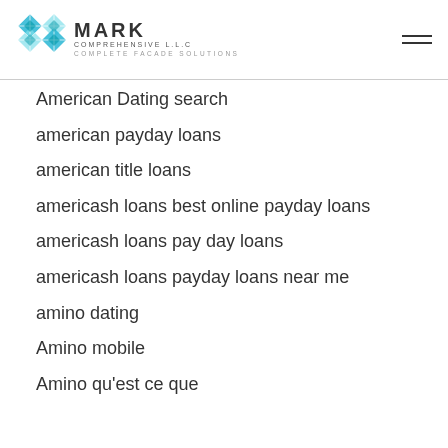MARK COMPREHENSIVE L.L.C COMPLETE FACADE SOLUTIONS
American Dating search
american payday loans
american title loans
americash loans best online payday loans
americash loans pay day loans
americash loans payday loans near me
amino dating
Amino mobile
Amino qu'est ce que